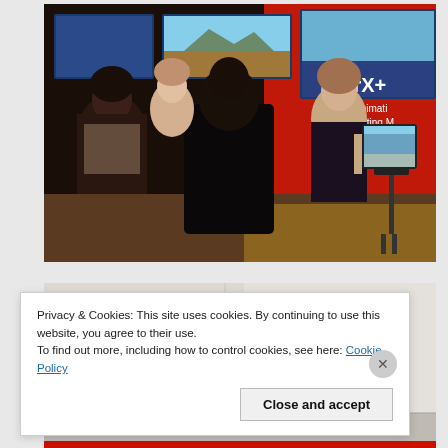[Figure (photo): People at a trade show or exhibition booth with red walls and multiple display screens showing digital content. A woman holds up a tablet showing a 3D visualization. Text visible: 'ArX+', '3D Animati...', 'Marketing M...']
[Figure (photo): Partial view of what appears to be an interior space, mostly white/light colored ceiling or wall visible.]
Privacy & Cookies: This site uses cookies. By continuing to use this website, you agree to their use.
To find out more, including how to control cookies, see here: Cookie Policy
Close and accept